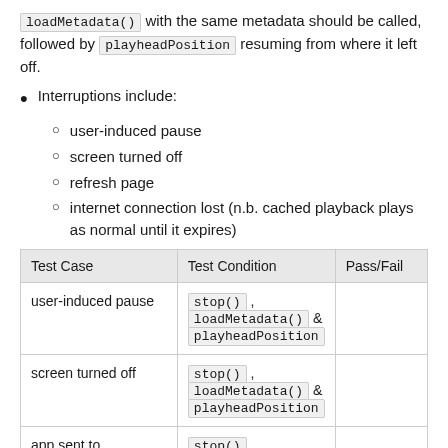loadMetadata() with the same metadata should be called, followed by playheadPosition resuming from where it left off.
Interruptions include:
user-induced pause
screen turned off
refresh page
internet connection lost (n.b. cached playback plays as normal until it expires)
| Test Case | Test Condition | Pass/Fail |
| --- | --- | --- |
| user-induced pause | stop() , loadMetadata() & playheadPosition |  |
| screen turned off | stop() , loadMetadata() & playheadPosition |  |
| app sent to | stop() , loadMetadata() & |  |